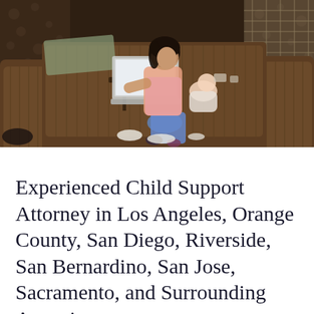[Figure (photo): A woman sitting on a dark brown sofa holding a baby while looking at a laptop. The room has textured wallpaper and corduroy-style furniture. Baby items are on the floor.]
Experienced Child Support Attorney in Los Angeles, Orange County, San Diego, Riverside, San Bernardino, San Jose, Sacramento, and Surrounding Areas in